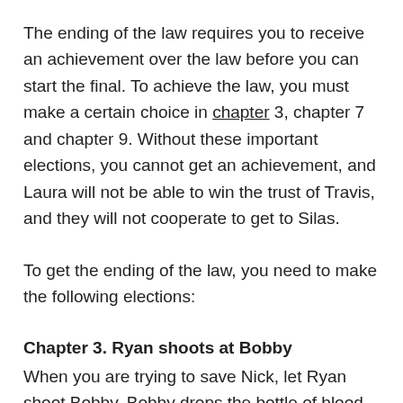The ending of the law requires you to receive an achievement over the law before you can start the final. To achieve the law, you must make a certain choice in chapter 3, chapter 7 and chapter 9. Without these important elections, you cannot get an achievement, and Laura will not be able to win the trust of Travis, and they will not cooperate to get to Silas.
To get the ending of the law, you need to make the following elections:
Chapter 3. Ryan shoots at Bobby
When you are trying to save Nick, let Ryan shoot Bobby. Bobby drops the bottle of blood and runs away. The bottle is also one of the key items for the ending.